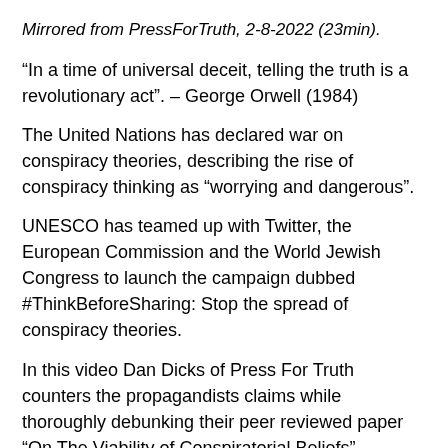Mirrored from PressForTruth, 2-8-2022 (23min).
“In a time of universal deceit, telling the truth is a revolutionary act”. – George Orwell (1984)
The United Nations has declared war on conspiracy theories, describing the rise of conspiracy thinking as “worrying and dangerous”.
UNESCO has teamed up with Twitter, the European Commission and the World Jewish Congress to launch the campaign dubbed #ThinkBeforeSharing: Stop the spread of conspiracy theories.
In this video Dan Dicks of Press For Truth counters the propagandists claims while thoroughly debunking their peer reviewed paper “On The Viability of Conspiratorial Beliefs”.